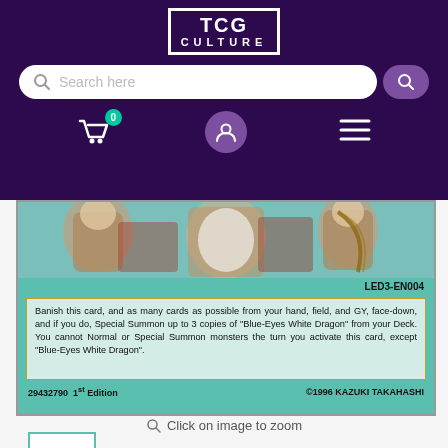[Figure (logo): TCG Culture logo - white text in bordered box on dark purple background]
[Figure (screenshot): Search bar with Search here placeholder text and purple search button]
[Figure (screenshot): Navigation icons: shopping cart with 0 badge, user icon, hamburger menu]
[Figure (photo): Yu-Gi-Oh card LED3-EN004, showing partial art and card text: Banish this card, and as many cards as possible from your hand, field, and GY, face-down, and if you do, Special Summon up to 3 copies of 'Blue-Eyes White Dragon' from your Deck. You cannot Normal or Special Summon monsters the turn you activate this card, except 'Blue-Eyes White Dragon'. Card number 29432790, 1st Edition, ©1996 KAZUKI TAKAHASHI]
Click on image to zoom